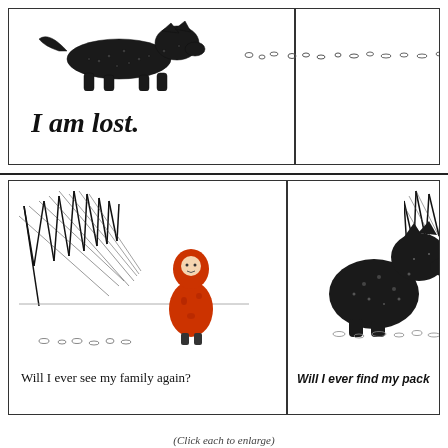[Figure (illustration): Top comic panel showing a black wolf walking left to right with dotted trail behind it, and handwritten text 'I am lost.' below]
[Figure (illustration): Bottom left comic panel showing a small girl in an orange/red hooded cloak standing in front of a sketchy dark forest, with dotted trail on ground and caption 'Will I ever see my family again?']
[Figure (illustration): Bottom right comic panel showing a large black wolf sitting, partially cropped, in front of sketchy forest, with caption 'Will I ever find my pack']
(Click each to enlarge)